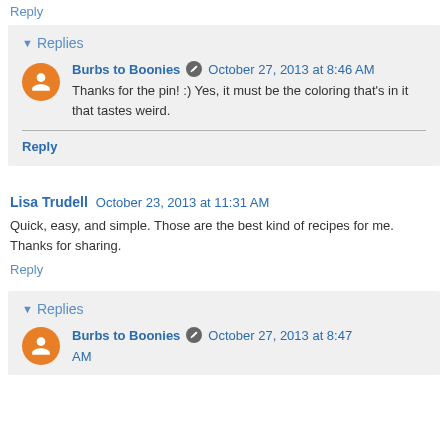Reply
Replies
Burbs to Boonies  October 27, 2013 at 8:46 AM
Thanks for the pin! :) Yes, it must be the coloring that's in it that tastes weird.
Reply
Lisa Trudell  October 23, 2013 at 11:31 AM
Quick, easy, and simple. Those are the best kind of recipes for me. Thanks for sharing.
Reply
Replies
Burbs to Boonies  October 27, 2013 at 8:47 AM